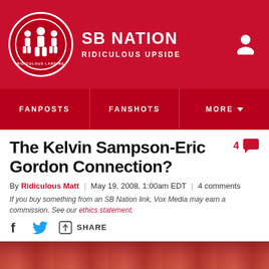SB NATION — RIDICULOUS UPSIDE
FANPOSTS | FANSHOTS | MORE
The Kelvin Sampson-Eric Gordon Connection?
By Ridiculous Matt | May 19, 2008, 1:00am EDT | 4 comments
If you buy something from an SB Nation link, Vox Media may earn a commission. See our ethics statement.
SHARE
[Figure (photo): Red-toned crowd photo at the bottom of the article page]